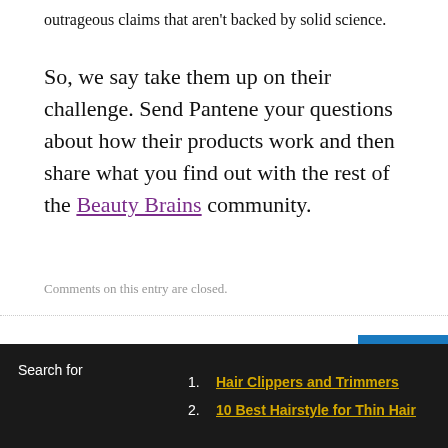outrageous claims that aren't backed by solid science.
So, we say take them up on their challenge. Send Pantene your questions about how their products work and then share what you find out with the rest of the Beauty Brains community.
Comments on this entry are closed.
angel
1. Hair Clippers and Trimmers
2. 10 Best Hairstyle for Thin Hair
Search for